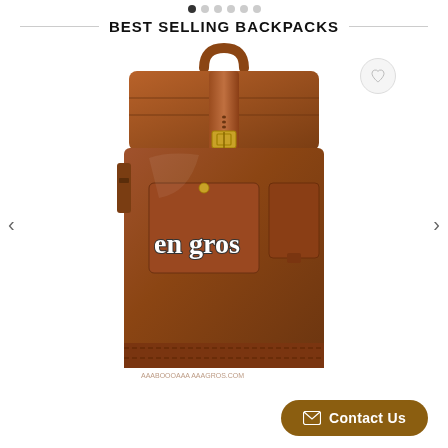● ○ ○ ○ ○ ○
BEST SELLING BACKPACKS
[Figure (photo): A brown leather roll-top backpack with gold buckle, front pocket, and 'en gros' text overlay on the front. The bag is displayed on a white background. A small watermark text appears at the bottom of the bag.]
Contact Us